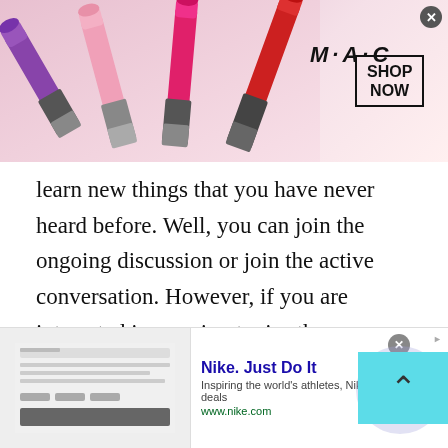[Figure (illustration): MAC Cosmetics advertisement banner showing lipsticks in purple, pink, and red colors with M·A·C logo and SHOP NOW button]
learn new things that you have never heard before. Well, you can join the ongoing discussion or join the active conversation. However, if you are interested in ongoing topics then you can simply start your own conversation or post your query via free online chat. Yes, you can post your topic of interest and start getting opinions or suggestions from different parts of the world.

Well, this can be much easier and convenient to get
[Figure (illustration): Nike advertisement banner with Nike. Just Do It headline, description text, www.nike.com URL, and a circular arrow button]